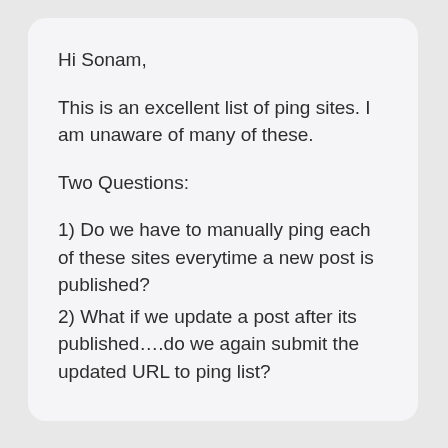Hi Sonam,
This is an excellent list of ping sites. I am unaware of many of these.
Two Questions:
1) Do we have to manually ping each of these sites everytime a new post is published?
2) What if we update a post after its published….do we again submit the updated URL to ping list?